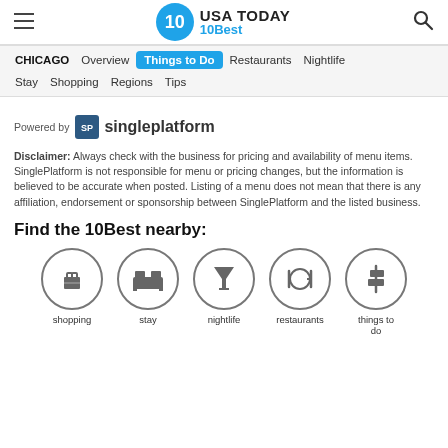USA TODAY 10Best
CHICAGO  Overview  Things to Do  Restaurants  Nightlife  Stay  Shopping  Regions  Tips
[Figure (logo): Powered by singleplatform logo]
Disclaimer: Always check with the business for pricing and availability of menu items. SinglePlatform is not responsible for menu or pricing changes, but the information is believed to be accurate when posted. Listing of a menu does not mean that there is any affiliation, endorsement or sponsorship between SinglePlatform and the listed business.
Find the 10Best nearby:
[Figure (infographic): Five circular icons: shopping (gift box), stay (bed), nightlife (cocktail glass), restaurants (fork and plate), things to do (signpost)]